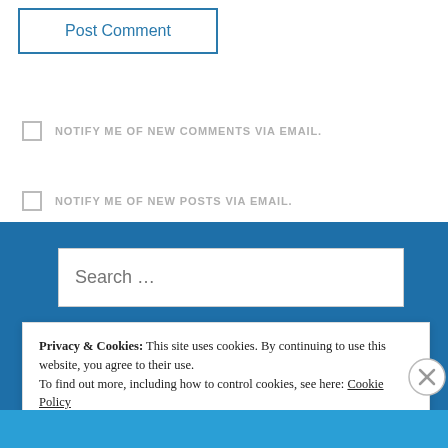Post Comment
NOTIFY ME OF NEW COMMENTS VIA EMAIL.
NOTIFY ME OF NEW POSTS VIA EMAIL.
Search ...
Privacy & Cookies: This site uses cookies. By continuing to use this website, you agree to their use.
To find out more, including how to control cookies, see here: Cookie Policy
Close and accept